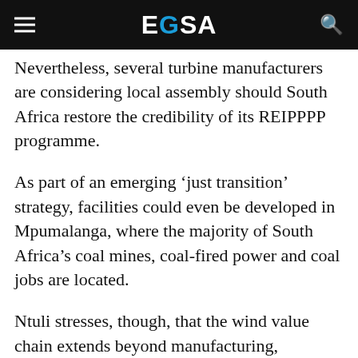EGSA
Nevertheless, several turbine manufacturers are considering local assembly should South Africa restore the credibility of its REIPPPP programme.
As part of an emerging ‘just transition’ strategy, facilities could even be developed in Mpumalanga, where the majority of South Africa’s coal mines, coal-fired power and coal jobs are located.
Ntuli stresses, though, that the wind value chain extends beyond manufacturing, spanning professional engineering and financial services upstream, to ongoing operations and maintenance downstream. Logistics is also a major feature.